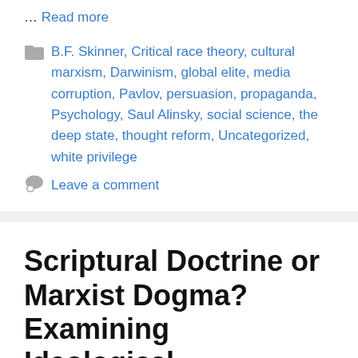… Read more
B.F. Skinner, Critical race theory, cultural marxism, Darwinism, global elite, media corruption, Pavlov, persuasion, propaganda, Psychology, Saul Alinsky, social science, the deep state, thought reform, Uncategorized, white privilege
Leave a comment
Scriptural Doctrine or Marxist Dogma? Examining Ideological Subversion and